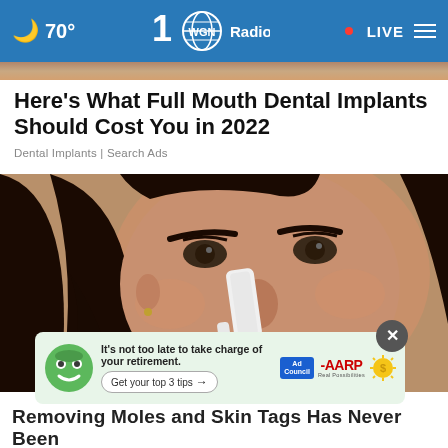🌙 70° | WGN Radio | LIVE
Here's What Full Mouth Dental Implants Should Cost You in 2022
Dental Implants | Search Ads
[Figure (photo): Close-up photo of a woman with dark hair applying something white to her nose with a tool]
[Figure (infographic): AARP advertisement banner: green mascot face, text 'It's not too late to take charge of your retirement. Get your top 3 tips →', Ad Council logo, AARP logo, sun icon]
Removing Moles and Skin Tags Has Never Been